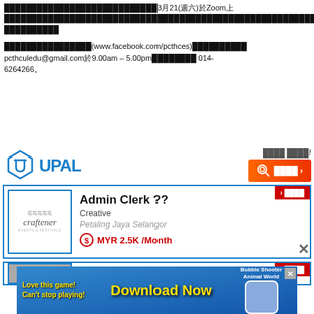3月21(週六)於Zoom上
如欲了解更多詳情請瀏覽我們面書專頁(www.facebook.com/pcthces)或電郵至pcthculedu@gmail.com於9.00am – 5.00pm期間致電 014-6264266。
[Figure (screenshot): UPAL job portal screenshot showing Admin Clerk job posting by Creative company in Petaling Jaya Selangor with MYR 2.5K/Month salary]
[Figure (infographic): Download Now game advertisement banner]